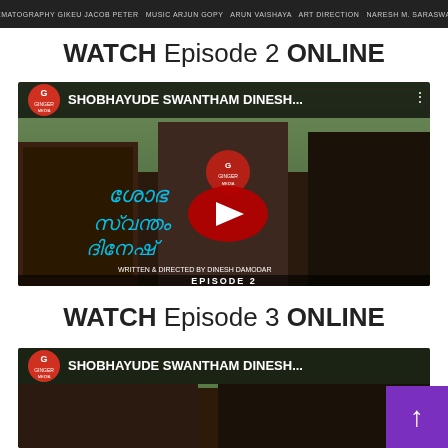[Figure (screenshot): Top banner strip with dark background showing film crew credits: Cinematography GIKEU JACOB PETER, Music ARJUN GOPY, ARUN VAISHAYA, Art Direction, NARESH M. SARASWATHY]
WATCH Episode 2 ONLINE
[Figure (screenshot): YouTube video thumbnail for SHOBHAYUDE SWANTHAM DINESH Episode 2, Ginger Media channel. Shows three people (two men and a woman in center), Malayalam script title overlay, red play button, Written & Directed by Dinesh Damodar, EPISODE 2 text at bottom.]
WATCH Episode 3 ONLINE
[Figure (screenshot): YouTube video thumbnail for SHOBHAYUDE SWANTHAM DINESH (Episode 3), Ginger Media channel. Partially visible at bottom of page showing two people and Ginger Media logo.]